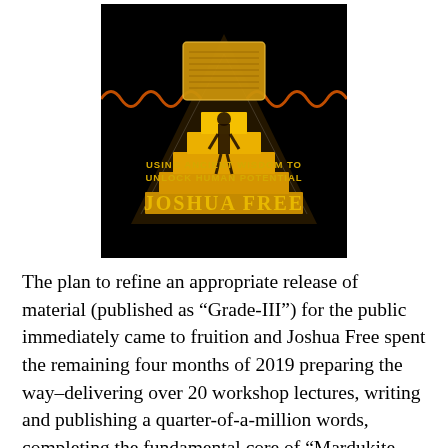[Figure (illustration): Book cover for 'Tablets of Destiny: Using Ancient Wisdom to Unlock Human Potential' by Joshua Free. Black background with gold pyramid steps, a silhouette figure, glowing golden tablets with ancient script at the top, orange wavy lines on sides, yellow text reading 'USING ANCIENT WISDOM TO UNLOCK HUMAN POTENTIAL' and 'JOSHUA FREE' in large gold letters.]
The plan to refine an appropriate release of material (published as “Grade-III”) for the public immediately came to fruition and Joshua Free spent the remaining four months of 2019 preparing the way–delivering over 20 workshop lectures, writing and publishing a quarter-of-a-million words, completing the fundamental core of “Mardukite Systemology” in the volumes: TABLETS OF DESTINY: USING ANCIENT WISDOM TO UNLOCK